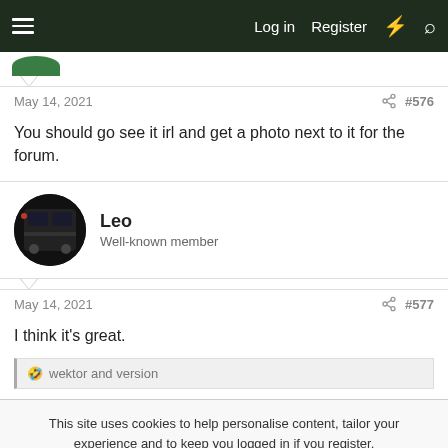Log in  Register
May 14, 2021  #576
You should go see it irl and get a photo next to it for the forum.
Leo
Well-known member
May 14, 2021  #577
I think it's great.
🤣 wektor and version
This site uses cookies to help personalise content, tailor your experience and to keep you logged in if you register.
By continuing to use this site, you are consenting to our use of cookies.